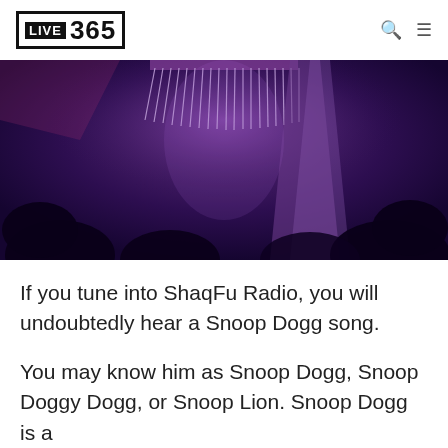Live365
[Figure (photo): Concert/performance scene with purple lighting, a performer in fringed costume visible, crowd silhouettes in foreground]
If you tune into ShaqFu Radio, you will undoubtedly hear a Snoop Dogg song.
You may know him as Snoop Dogg, Snoop Doggy Dogg, or Snoop Lion. Snoop Dogg is a